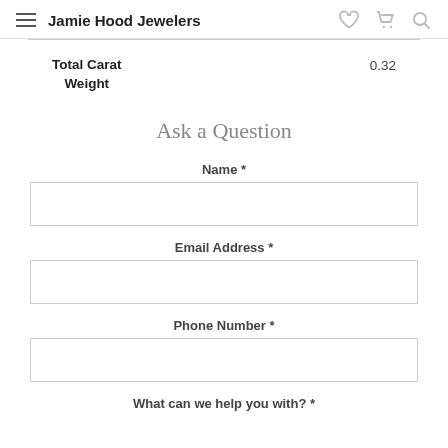Jamie Hood Jewelers
| Total Carat Weight | 0.32 |
| --- | --- |
Ask a Question
Name *
Email Address *
Phone Number *
What can we help you with? *